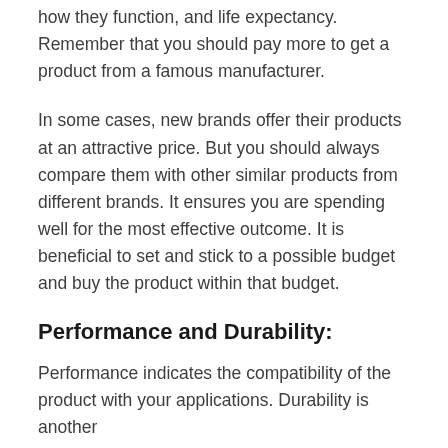how they function, and life expectancy. Remember that you should pay more to get a product from a famous manufacturer.
In some cases, new brands offer their products at an attractive price. But you should always compare them with other similar products from different brands. It ensures you are spending well for the most effective outcome. It is beneficial to set and stick to a possible budget and buy the product within that budget.
Performance and Durability:
Performance indicates the compatibility of the product with your applications. Durability is another